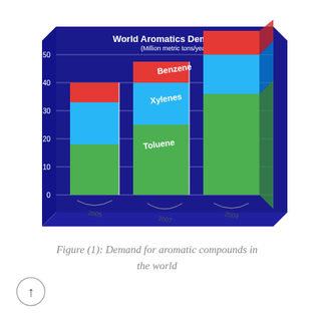[Figure (stacked-bar-chart): World Aromatics Demand (Million metric tons/year)]
Figure (1): Demand for aromatic compounds in the world